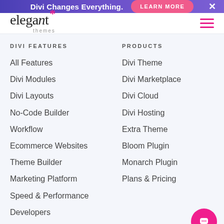Divi Changes Everything. LEARN MORE ×
[Figure (logo): Elegant Themes logo with asterisk in pink and 'themes' subtitle]
DIVI FEATURES
PRODUCTS
All Features
Divi Theme
Divi Modules
Divi Marketplace
Divi Layouts
Divi Cloud
No-Code Builder
Divi Hosting
Workflow
Extra Theme
Ecommerce Websites
Bloom Plugin
Theme Builder
Monarch Plugin
Marketing Platform
Plans & Pricing
Speed & Performance
Developers
Premium Support